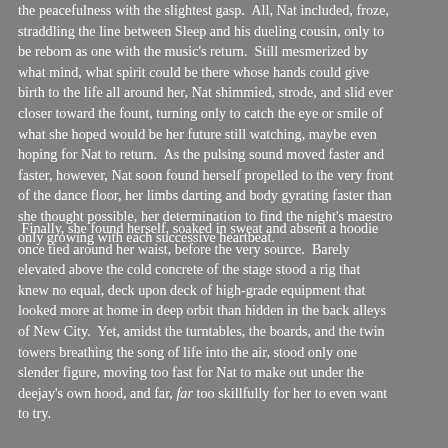the peacefulness with the slightest gasp.  All, Nat included, froze, straddling the line between Sleep and his dueling cousin, only to be reborn as one with the music's return.  Still mesmerized by what mind, what spirit could be there whose hands could give birth to the life all around her, Nat shimmied, strode, and slid ever closer toward the fount, turning only to catch the eye or smile of what she hoped would be her future still watching, maybe even hoping for Nat to return.  As the pulsing sound moved faster and faster, however, Nat soon found herself propelled to the very front of the dance floor, her limbs darting and body gyrating faster than she thought possible, her determination to find the night's maestro only growing with each successive heartbeat.
Finally, she found herself, soaked in sweat and absent a hoodie once tied around her waist, before the very source.  Barely elevated above the cold concrete of the stage stood a rig that knew no equal, deck upon deck of high-grade equipment that looked more at home in deep orbit than hidden in the back alleys of New City.  Yet, amidst the turntables, the boards, and the twin towers breathing the song of life into the air, stood only one slender figure, moving too fast for Nat to make out under the deejay's own hood, and far, far too skillfully for her to even want to try.